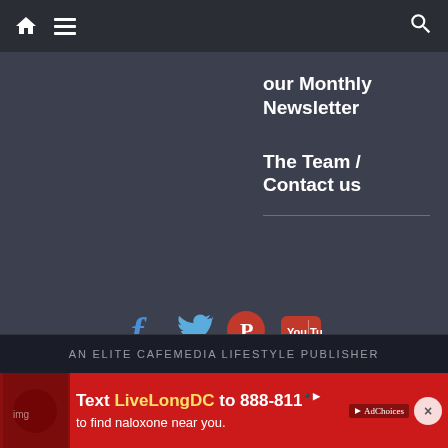[Figure (screenshot): Navigation bar with home icon, hamburger menu icon, and search icon on dark background]
our Monthly Newsletter
The Team / Contact us
[Figure (screenshot): Social media icons: Facebook, Twitter, Pinterest, YouTube]
@All rights reserved
Gadgets & Wearables Ltd 2015-2022
AN ELITE CAFEMEDIA LIFESTYLE PUBLISHER
[Figure (screenshot): Advertisement banner: Text LiveLongDC to 888-811 to find naloxone near you.]